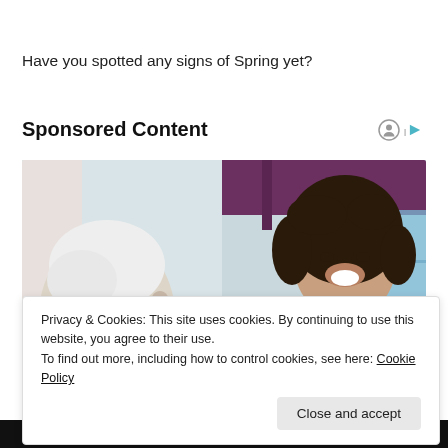Have you spotted any signs of Spring yet?
Sponsored Content
[Figure (photo): A smiling young female nurse in blue scrubs with a stethoscope talking to an elderly patient, with a purple curtain and window in the background.]
Privacy & Cookies: This site uses cookies. By continuing to use this website, you agree to their use.
To find out more, including how to control cookies, see here: Cookie Policy
Close and accept
valley health Registered Nurse (RN/BSN/ASN) Jobs